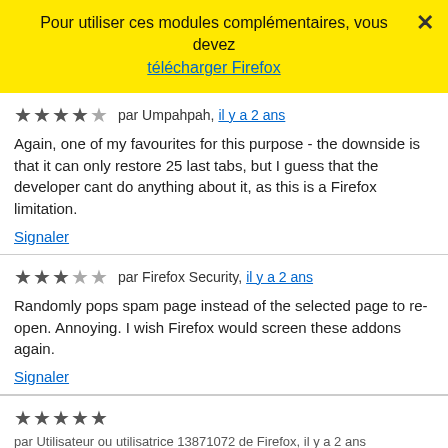Pour utiliser ces modules complémentaires, vous devez télécharger Firefox
par Umpahpah, il y a 2 ans
Again, one of my favourites for this purpose - the downside is that it can only restore 25 last tabs, but I guess that the developer cant do anything about it, as this is a Firefox limitation.
Signaler
par Firefox Security, il y a 2 ans
Randomly pops spam page instead of the selected page to re-open. Annoying. I wish Firefox would screen these addons again.
Signaler
par Utilisateur ou utilisatrice 13871072 de Firefox, il y a 2 ans